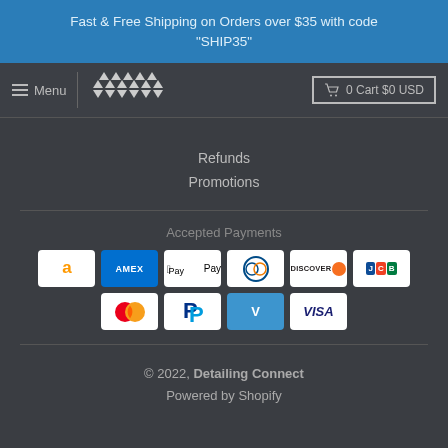Fast & Free Shipping on Orders over $35 with code "SHIP35"
≡ Menu | [logo] | 🛒 0 Cart $0 USD
Refunds
Promotions
Accepted Payments
[Figure (other): Payment method icons: Amazon, Amex, Apple Pay, Diners Club, Discover, JCB, Mastercard, PayPal, Venmo, Visa]
© 2022, Detailing Connect
Powered by Shopify